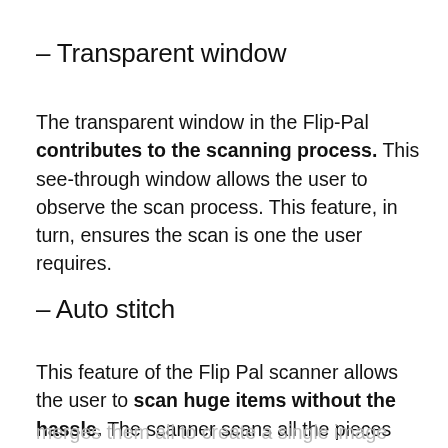– Transparent window
The transparent window in the Flip-Pal contributes to the scanning process. This see-through window allows the user to observe the scan process. This feature, in turn, ensures the scan is one the user requires.
– Auto stitch
This feature of the Flip Pal scanner allows the user to scan huge items without the hassle. The scanner scans all the pieces and then
merges them all to create a single image